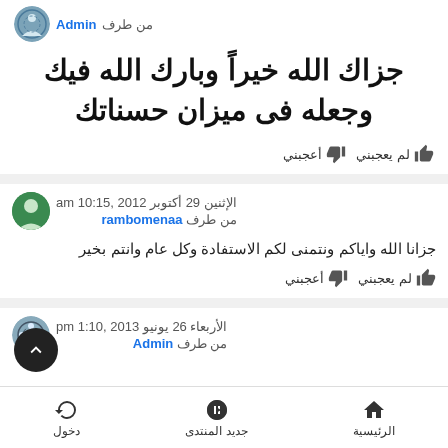من طرف Admin
جزاك الله خيراً وبارك الله فيك وجعله فى ميزان حسناتك
لم يعجبني   أعجبني
الإثنين 29 أكتوبر 2012 ,10:15 am
من طرف rambomenaa
جزانا الله واياكم ونتمنى لكم الاستفادة وكل عام وانتم بخير
لم يعجبني   أعجبني
الأربعاء 26 يونيو 2013 ,1:10 pm
من طرف Admin
الرئيسية   جديد المنتدى   دخول